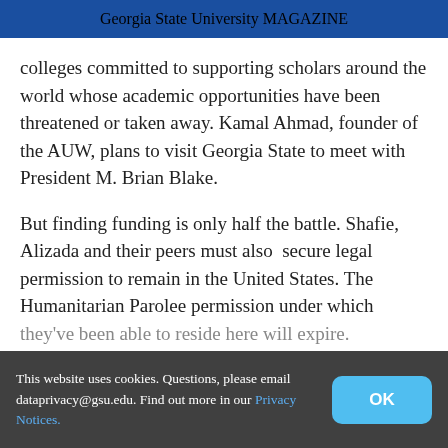Georgia State University MAGAZINE
colleges committed to supporting scholars around the world whose academic opportunities have been threatened or taken away. Kamal Ahmad, founder of the AUW, plans to visit Georgia State to meet with President M. Brian Blake.
But finding funding is only half the battle. Shafie, Alizada and their peers must also secure legal permission to remain in the United States. The Humanitarian Parolee permission under which they've been able to reside here will expire. [partially obscured] ...making for asy-[obscured] process that is tedious and strict. Fortunately, Ahmad and AUW
This website uses cookies. Questions, please email dataprivacy@gsu.edu. Find out more in our Privacy Notices.